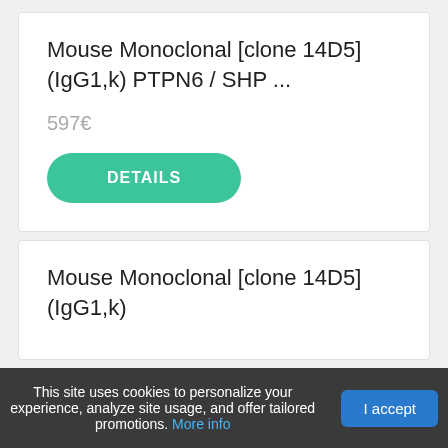Mouse Monoclonal [clone 14D5] (IgG1,k) PTPN6 / SHP ...
597€
DETAILS
Mouse Monoclonal [clone 14D5] (IgG1,k)
This site uses cookies to personalize your experience, analyze site usage, and offer tailored promotions. More info
I accept